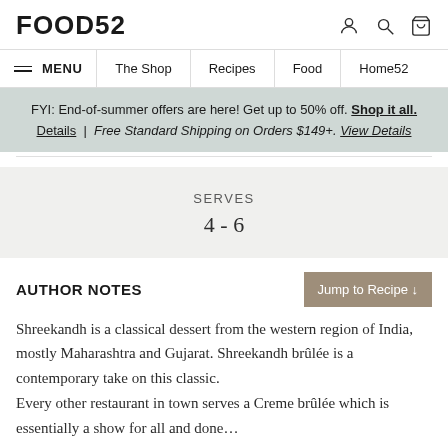FOOD52
MENU | The Shop | Recipes | Food | Home52
FYI: End-of-summer offers are here! Get up to 50% off. Shop it all. Details | Free Standard Shipping on Orders $149+. View Details
SERVES
4 - 6
AUTHOR NOTES
Shreekandh is a classical dessert from the western region of India, mostly Maharashtra and Gujarat. Shreekandh brûlée is a contemporary take on this classic.
Every other restaurant in town serves a Creme brûlée which is essentially a show for all and done…